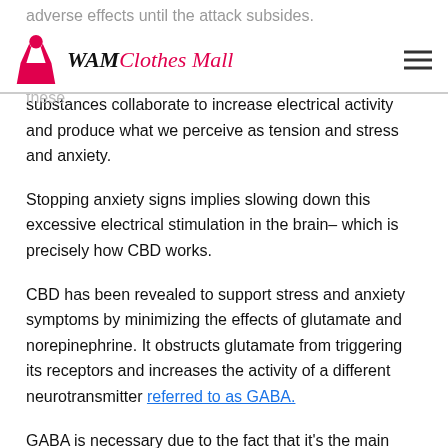WAM Clothes Mall
adverse effects until the attack subsides.
…and anxiety is mostly driven by two neurotransmitters in the brain– glutamate and norepinephrine. Both of these substances collaborate to increase electrical activity and produce what we perceive as tension and stress and anxiety.
Stopping anxiety signs implies slowing down this excessive electrical stimulation in the brain– which is precisely how CBD works.
CBD has been revealed to support stress and anxiety symptoms by minimizing the effects of glutamate and norepinephrine. It obstructs glutamate from triggering its receptors and increases the activity of a different neurotransmitter referred to as GABA.
GABA is necessary due to the fact that it's the main